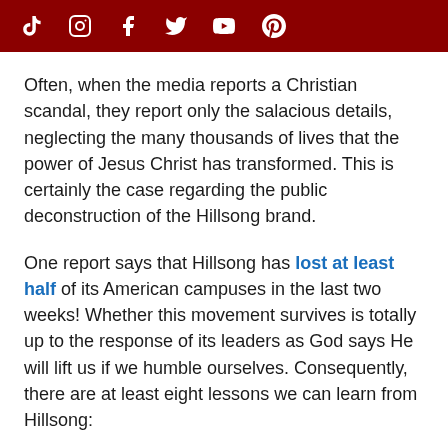[Social media icons: TikTok, Instagram, Facebook, Twitter, YouTube, Pinterest]
Often, when the media reports a Christian scandal, they report only the salacious details, neglecting the many thousands of lives that the power of Jesus Christ has transformed. This is certainly the case regarding the public deconstruction of the Hillsong brand.
One report says that Hillsong has lost at least half of its American campuses in the last two weeks! Whether this movement survives is totally up to the response of its leaders as God says He will lift us if we humble ourselves. Consequently, there are at least eight lessons we can learn from Hillsong: